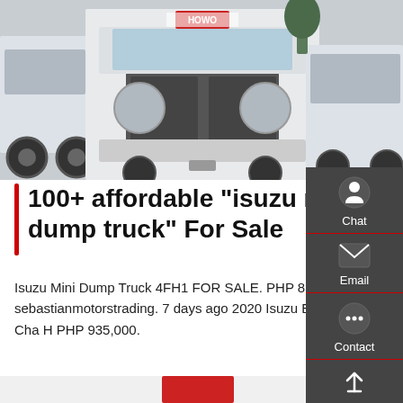[Figure (photo): Front-facing view of a white HOWO dump truck in a parking area, with other trucks visible on both sides]
100+ affordable "isuzu mini dump truck" For Sale
Isuzu Mini Dump Truck 4FH1 FOR SALE. PHP 850,000. Used. sebastianmotorstrading. 7 days ago 2020 Isuzu Elf Mini Dump Truck Molye Camel Cha H PHP 935,000.
Get a Quote